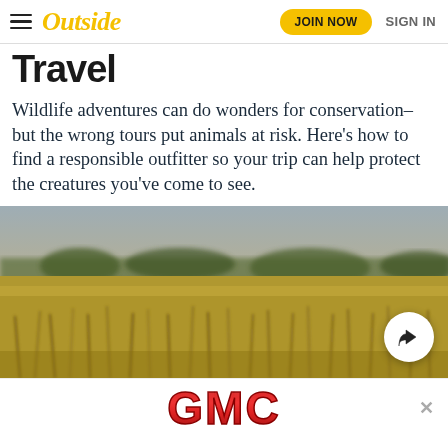Outside  JOIN NOW  SIGN IN
Travel
Wildlife adventures can do wonders for conservation–but the wrong tours put animals at risk. Here's how to find a responsible outfitter so your trip can help protect the creatures you've come to see.
[Figure (photo): Blurred savanna landscape with dry golden grass and distant trees, nature/wildlife scene]
[Figure (logo): GMC logo advertisement banner with red metallic lettering on white background, with close X button]